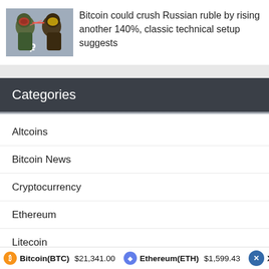[Figure (illustration): Illustrated image of two figures in a confrontation, one appearing to represent Russia (Ruble symbol visible), set against a stylized background]
Bitcoin could crush Russian ruble by rising another 140%, classic technical setup suggests
Categories
Altcoins
Bitcoin News
Cryptocurrency
Ethereum
Litecoin
Market Analysis
Bitcoin(BTC) $21,341.00   Ethereum(ETH) $1,599.43   XRP(